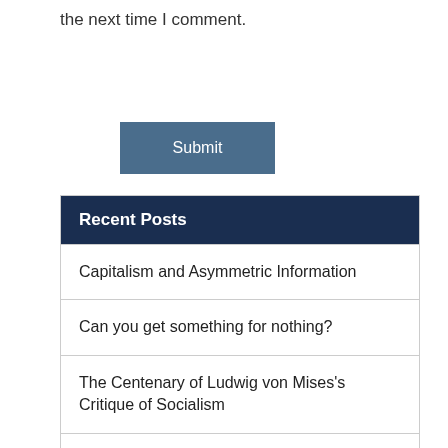the next time I comment.
Submit
Recent Posts
Capitalism and Asymmetric Information
Can you get something for nothing?
The Centenary of Ludwig von Mises's Critique of Socialism
Ibn Khaldun: An Arab Scholar 21st Century Politicians Could Learn From